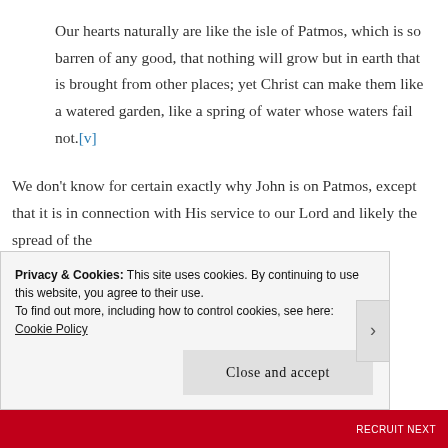Our hearts naturally are like the isle of Patmos, which is so barren of any good, that nothing will grow but in earth that is brought from other places; yet Christ can make them like a watered garden, like a spring of water whose waters fail not.[v]
We don't know for certain exactly why John is on Patmos, except that it is in connection with His service to our Lord and likely the spread of the
Privacy & Cookies: This site uses cookies. By continuing to use this website, you agree to their use.
To find out more, including how to control cookies, see here: Cookie Policy
Close and accept